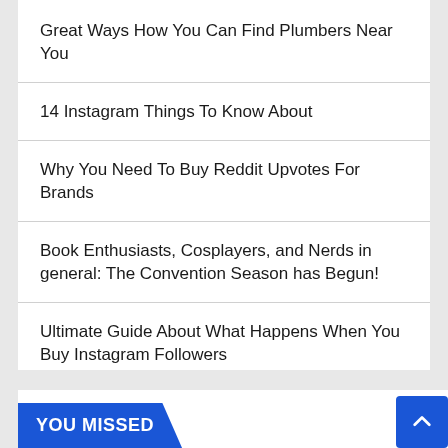Great Ways How You Can Find Plumbers Near You
14 Instagram Things To Know About
Why You Need To Buy Reddit Upvotes For Brands
Book Enthusiasts, Cosplayers, and Nerds in general: The Convention Season has Begun!
Ultimate Guide About What Happens When You Buy Instagram Followers
YOU MISSED